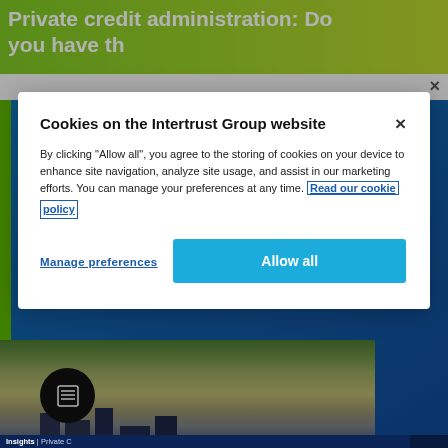Private credit administration: Do you have th
[Figure (screenshot): Website screenshot of Intertrust Group webpage showing green header with partial article title 'Private credit administration: Do you have th', a white navigation strip with close button, blue background area with partial text 'news and insights, personalised to your role, location and areas of interest.' and a Subscribe button, a photo of a town/cityscape bottom-left, a circular document icon, and an Insights breadcrumb bar at the bottom.]
Cookies on the Intertrust Group website
By clicking "Allow all", you agree to the storing of cookies on your device to enhance site navigation, analyze site usage, and assist in our marketing efforts. You can manage your preferences at any time. Read our cookie policy
Manage preferences
Allow all
news and insights, personalised to your role, location and areas of interest.
Subscribe
Insights | Private C